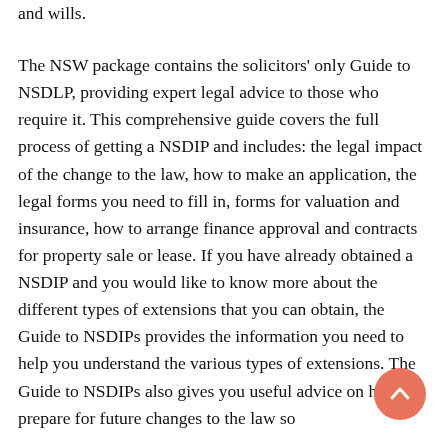and wills.
The NSW package contains the solicitors' only Guide to NSDLP, providing expert legal advice to those who require it. This comprehensive guide covers the full process of getting a NSDIP and includes: the legal impact of the change to the law, how to make an application, the legal forms you need to fill in, forms for valuation and insurance, how to arrange finance approval and contracts for property sale or lease. If you have already obtained a NSDIP and you would like to know more about the different types of extensions that you can obtain, the Guide to NSDIPs provides the information you need to help you understand the various types of extensions. The Guide to NSDIPs also gives you useful advice on how to prepare for future changes to the law so